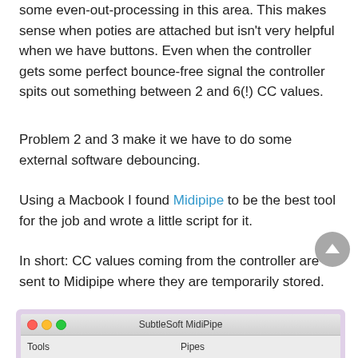some even-out-processing in this area. This makes sense when poties are attached but isn't very helpful when we have buttons. Even when the controller gets some perfect bounce-free signal the controller spits out something between 2 and 6(!) CC values.
Problem 2 and 3 make it we have to do some external software debouncing.
Using a Macbook I found Midipipe to be the best tool for the job and wrote a little script for it.
In short: CC values coming from the controller are sent to Midipipe where they are temporarily stored.
[Figure (screenshot): Screenshot of SubtleSoft MidiPipe application window on Mac OS X, showing the title bar with traffic light buttons, and a toolbar with 'Tools' and 'Pipes' columns.]